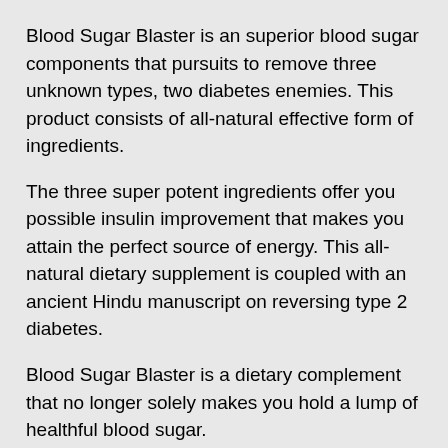Blood Sugar Blaster is an superior blood sugar components that pursuits to remove three unknown types, two diabetes enemies. This product consists of all-natural effective form of ingredients.
The three super potent ingredients offer you possible insulin improvement that makes you attain the perfect source of energy. This all-natural dietary supplement is coupled with an ancient Hindu manuscript on reversing type 2 diabetes.
Blood Sugar Blaster is a dietary complement that no longer solely makes you hold a lump of healthful blood sugar.
Within weeks, you can without problems manipulate your diabetes, the place you can additionally start consuming your preferred ingredients again. Blood Sugar Blaster is for every day glucose guide that promotes healthful blo[truncated]